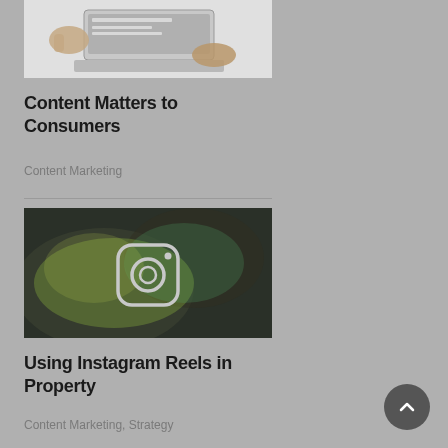[Figure (photo): Hands using a laptop computer, top-down view on a light background]
Content Matters to Consumers
Content Marketing
[Figure (photo): Instagram logo icon on a dark textured background with rainbow iridescent colors]
Using Instagram Reels in Property
Content Marketing, Strategy